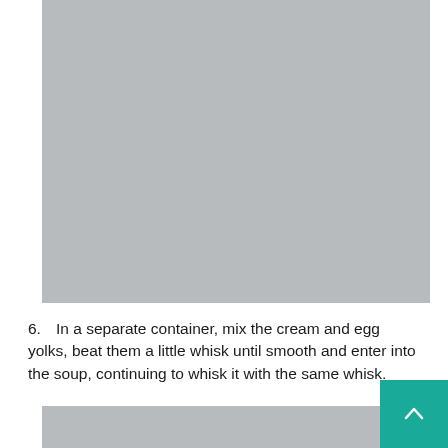[Figure (photo): A gray placeholder image at the top of the page]
6. In a separate container, mix the cream and egg yolks, beat them a little whisk until smooth and enter into the soup, continuing to whisk it with the same whisk.
[Figure (photo): A gray placeholder image at the bottom of the page]